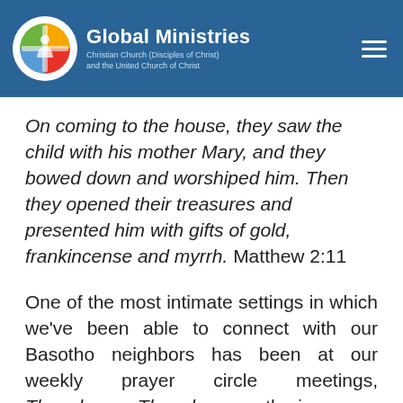Global Ministries / Christian Church (Disciples of Christ) and the United Church of Christ
On coming to the house, they saw the child with his mother Mary, and they bowed down and worshiped him. Then they opened their treasures and presented him with gifts of gold, frankincense and myrrh. Matthew 2:11
One of the most intimate settings in which we've been able to connect with our Basotho neighbors has been at our weekly prayer circle meetings, Thapelong. Thapelong gatherings are encouraged in the Lesotho Evangelical Church